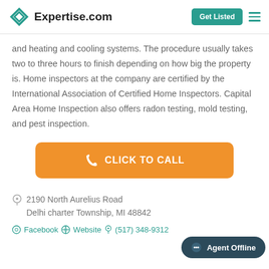Expertise.com
and heating and cooling systems. The procedure usually takes two to three hours to finish depending on how big the property is. Home inspectors at the company are certified by the International Association of Certified Home Inspectors. Capital Area Home Inspection also offers radon testing, mold testing, and pest inspection.
[Figure (other): Orange 'CLICK TO CALL' button with phone icon]
2190 North Aurelius Road
Delhi charter Township, MI 48842
Facebook  Website  (517) 348-9312
[Figure (other): Agent Offline chat badge]